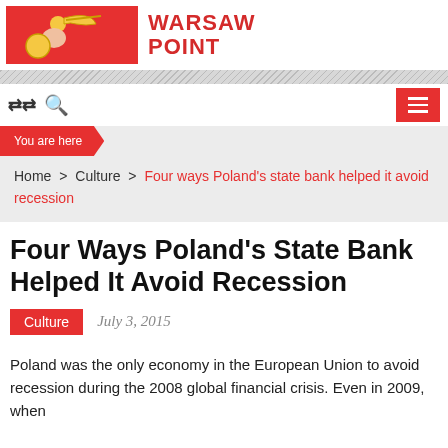[Figure (logo): Warsaw Point logo: red rectangle with illustrated figure holding a scythe and gold coin, followed by bold red text WARSAW POINT]
WARSAW POINT
You are here
Home > Culture > Four ways Poland's state bank helped it avoid recession
Four Ways Poland's State Bank Helped It Avoid Recession
Culture  July 3, 2015
Poland was the only economy in the European Union to avoid recession during the 2008 global financial crisis. Even in 2009, when